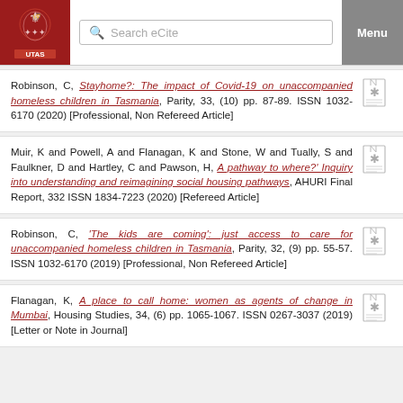Search eCite | Menu
Robinson, C, Stayhome?: The impact of Covid-19 on unaccompanied homeless children in Tasmania, Parity, 33, (10) pp. 87-89. ISSN 1032-6170 (2020) [Professional, Non Refereed Article]
Muir, K and Powell, A and Flanagan, K and Stone, W and Tually, S and Faulkner, D and Hartley, C and Pawson, H, A pathway to where?' Inquiry into understanding and reimagining social housing pathways, AHURI Final Report, 332 ISSN 1834-7223 (2020) [Refereed Article]
Robinson, C, 'The kids are coming': just access to care for unaccompanied homeless children in Tasmania, Parity, 32, (9) pp. 55-57. ISSN 1032-6170 (2019) [Professional, Non Refereed Article]
Flanagan, K, A place to call home: women as agents of change in Mumbai, Housing Studies, 34, (6) pp. 1065-1067. ISSN 0267-3037 (2019) [Letter or Note in Journal]